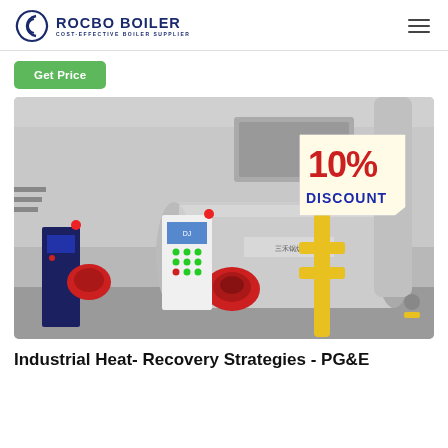ROCBO BOILER — COST-EFFECTIVE BOILER SUPPLIER
[Figure (logo): Rocbo Boiler logo with circular wave icon and text 'ROCBO BOILER / COST-EFFECTIVE BOILER SUPPLIER' in navy blue]
[Figure (photo): Industrial boiler room showing two large horizontal steam boilers with red burners, control panels (blue and white), piping in yellow and silver, and a '10% DISCOUNT' badge overlaid in the upper right corner]
Industrial Heat- Recovery Strategies - PG&E